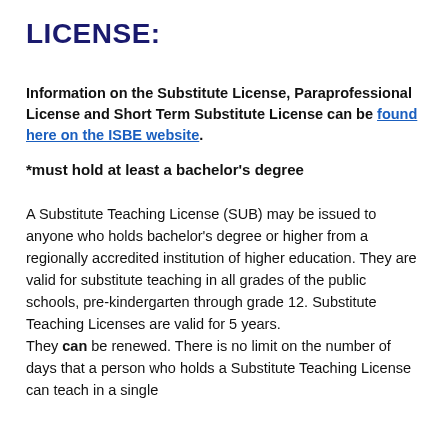LICENSE:
Information on the Substitute License, Paraprofessional License and Short Term Substitute License can be found here on the ISBE website.
*must hold at least a bachelor's degree
A Substitute Teaching License (SUB) may be issued to anyone who holds bachelor's degree or higher from a regionally accredited institution of higher education. They are valid for substitute teaching in all grades of the public schools, pre-kindergarten through grade 12. Substitute Teaching Licenses are valid for 5 years. They can be renewed. There is no limit on the number of days that a person who holds a Substitute Teaching License can teach in a single